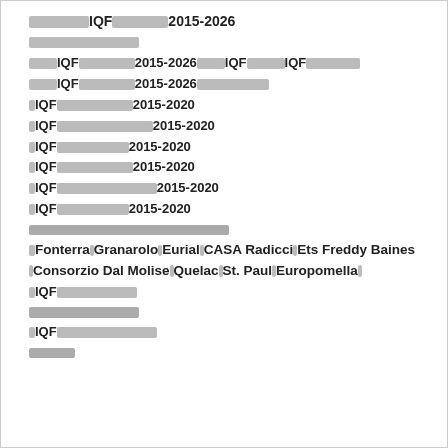████████IQF████████2015-2026
████████████████
████IQF████████2015-2026██████IQF██████IQF████████
████IQF████████2015-2026██████████████
█IQF██████████████2015-2020
█IQF██████████████████2015-2020
█IQF████████████2015-2020
█IQF██████████████2015-2020
█IQF████████████████████2015-2020
█IQF████████████2015-2020
████████████████████████████
█Fonterra█Granarolo█Eurial█CASA Radicci█Ets Freddy Baines█Consorzio Dal Molise█Quelac█St. Paul█Europomella█
█IQF████████████
██████████████
█IQF████████████████
██████